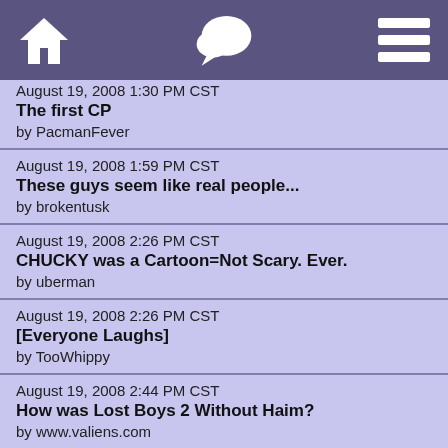Home | Chat | Menu
August 19, 2008 1:30 PM CST
The first CP
by PacmanFever
August 19, 2008 1:59 PM CST
These guys seem like real people...
by brokentusk
August 19, 2008 2:26 PM CST
CHUCKY was a Cartoon=Not Scary. Ever.
by uberman
August 19, 2008 2:26 PM CST
[Everyone Laughs]
by TooWhippy
August 19, 2008 2:44 PM CST
How was Lost Boys 2 Without Haim?
by www.valiens.com
August 19, 2008 3:24 PM CST
Haim was in Lost Boys 2
by Sith Witch
August 19, 2008 3:38 PM CST